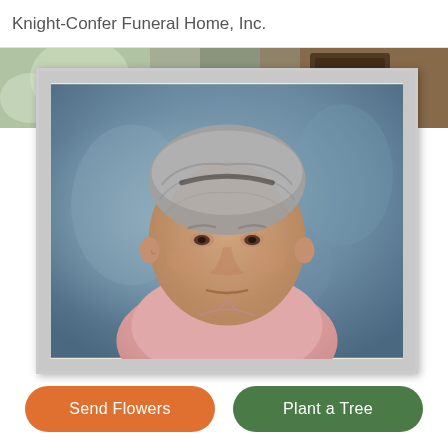Knight-Confer Funeral Home, Inc.
[Figure (photo): Portrait photo of an elderly woman with short gray hair wearing a pink blouse, set against a blue-gray studio background, displayed in a cream-matted frame with a light gray border.]
Send Flowers
Plant a Tree